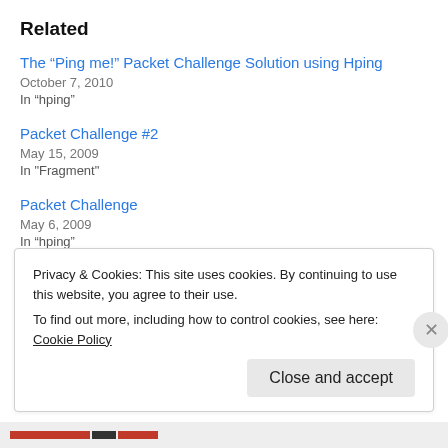Related
The “Ping me!” Packet Challenge Solution using Hping
October 7, 2010
In “hping”
Packet Challenge #2
May 15, 2009
In "Fragment"
Packet Challenge
May 6, 2009
In “hping”
Privacy & Cookies: This site uses cookies. By continuing to use this website, you agree to their use.
To find out more, including how to control cookies, see here: Cookie Policy